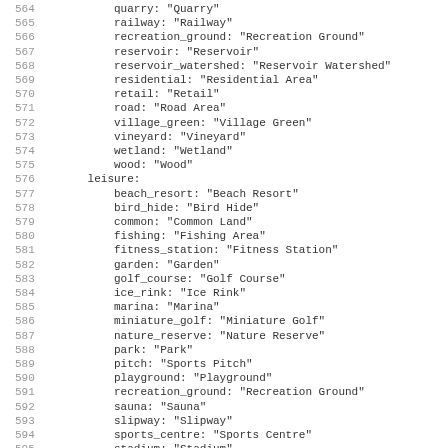Code listing lines 564-595: YAML/config key-value mappings for landuse and leisure categories
| line | code |
| --- | --- |
| 564 |             quarry: "Quarry" |
| 565 |             railway: "Railway" |
| 566 |             recreation_ground: "Recreation Ground" |
| 567 |             reservoir: "Reservoir" |
| 568 |             reservoir_watershed: "Reservoir Watershed" |
| 569 |             residential: "Residential Area" |
| 570 |             retail: "Retail" |
| 571 |             road: "Road Area" |
| 572 |             village_green: "Village Green" |
| 573 |             vineyard: "Vineyard" |
| 574 |             wetland: "Wetland" |
| 575 |             wood: "Wood" |
| 576 |         leisure: |
| 577 |             beach_resort: "Beach Resort" |
| 578 |             bird_hide: "Bird Hide" |
| 579 |             common: "Common Land" |
| 580 |             fishing: "Fishing Area" |
| 581 |             fitness_station: "Fitness Station" |
| 582 |             garden: "Garden" |
| 583 |             golf_course: "Golf Course" |
| 584 |             ice_rink: "Ice Rink" |
| 585 |             marina: "Marina" |
| 586 |             miniature_golf: "Miniature Golf" |
| 587 |             nature_reserve: "Nature Reserve" |
| 588 |             park: "Park" |
| 589 |             pitch: "Sports Pitch" |
| 590 |             playground: "Playground" |
| 591 |             recreation_ground: "Recreation Ground" |
| 592 |             sauna: "Sauna" |
| 593 |             slipway: "Slipway" |
| 594 |             sports_centre: "Sports Centre" |
| 595 |             stadium: "Stadium" |